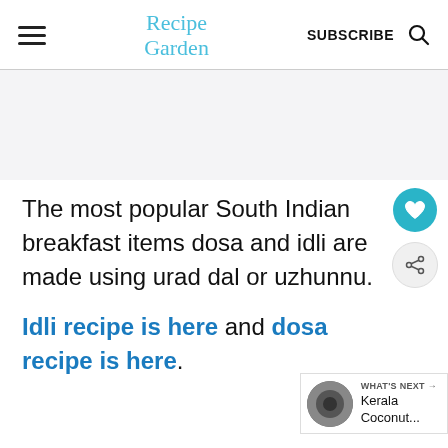Recipe Garden | SUBSCRIBE
[Figure (other): Advertisement / blank gray area placeholder]
The most popular South Indian breakfast items dosa and idli are made using urad dal or uzhunnu.
Idli recipe is here and dosa recipe is here.